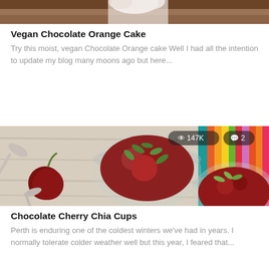[Figure (photo): Top portion of a chocolate cake with whipped cream, partially visible at top of page]
Vegan Chocolate Orange Cake
Try this moist, vegan Chocolate Orange cake Well I had all the intention to update my blog many moons ago but here...
[Figure (photo): Two glass cups filled with chocolate cherry chia pudding topped with cherries and green pumpkin seeds, on a wooden board, with colorful pencils in background. Stats overlay: 147K views, 2 comments.]
Chocolate Cherry Chia Cups
Perth is enduring one of the coldest winters we've had in years. I normally tolerate colder weather well but this year, I feared that...